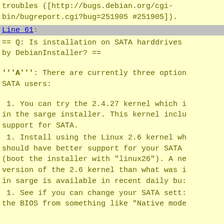troubles ([http://bugs.debian.org/cgi-bin/bugreport.cgi?bug=251905 #251905]).
Line 61:
== Q: Is installation on SATA harddrives by DebianInstaller? ==
'''A''': There are currently three options for SATA users:
1. You can try the 2.4.27 kernel which is in the sarge installer. This kernel includes support for SATA.
1. Install using the Linux 2.6 kernel which should have better support for your SATA (boot the installer with "linux26"). A newer version of the 2.6 kernel than what was in sarge is available in recent daily builds.
1. See if you can change your SATA settings in the BIOS from something like "Native mode